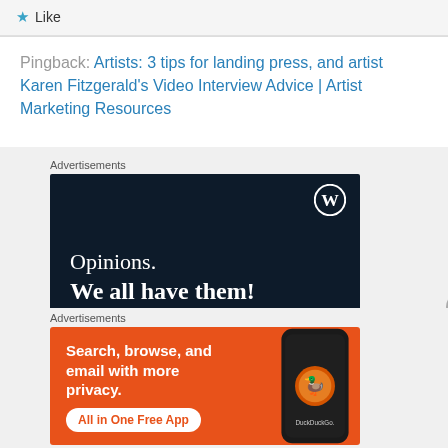★ Like
Pingback: Artists: 3 tips for landing press, and artist Karen Fitzgerald's Video Interview Advice | Artist Marketing Resources
Advertisements
[Figure (illustration): WordPress advertisement banner with dark navy background, WordPress logo (W in circle) in top right, text 'Opinions. We all have them!' in white serif font]
Advertisements
[Figure (illustration): DuckDuckGo advertisement with orange background, text 'Search, browse, and email with more privacy. All in One Free App', phone mockup on right showing DuckDuckGo app]